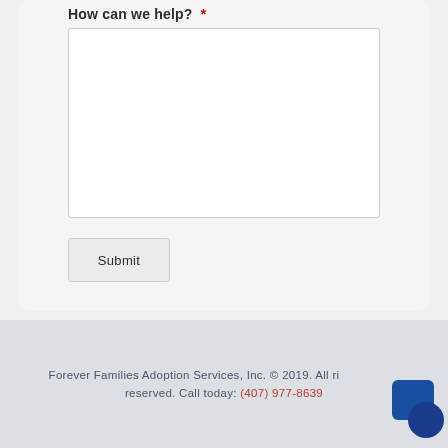How can we help? *
[Figure (screenshot): Empty white textarea input field for user message]
Submit
Forever Families Adoption Services, Inc. © 2019. All rights reserved. Call today: (407) 977-8639